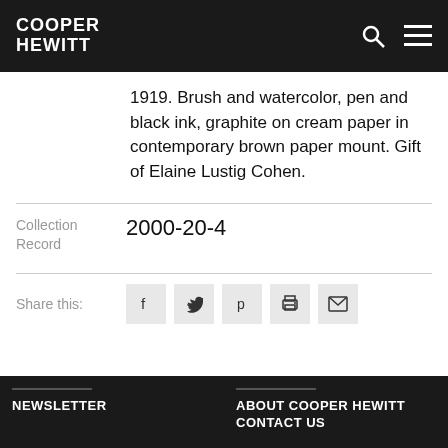COOPER HEWITT
1919. Brush and watercolor, pen and black ink, graphite on cream paper in contemporary brown paper mount. Gift of Elaine Lustig Cohen.
| Field | Value |
| --- | --- |
| Collection Record | 2000-20-4 |
Share this:
NEWSLETTER | ABOUT COOPER HEWITT CONTACT US